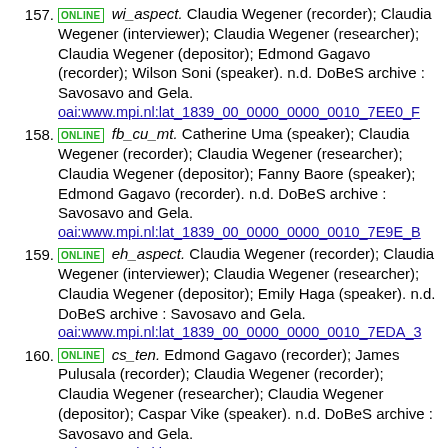157. ONLINE wi_aspect. Claudia Wegener (recorder); Claudia Wegener (interviewer); Claudia Wegener (researcher); Claudia Wegener (depositor); Edmond Gagavo (recorder); Wilson Soni (speaker). n.d. DoBeS archive : Savosavo and Gela. oai:www.mpi.nl:lat_1839_00_0000_0000_0010_7EE0_F
158. ONLINE fb_cu_mt. Catherine Uma (speaker); Claudia Wegener (recorder); Claudia Wegener (researcher); Claudia Wegener (depositor); Fanny Baore (speaker); Edmond Gagavo (recorder). n.d. DoBeS archive : Savosavo and Gela. oai:www.mpi.nl:lat_1839_00_0000_0000_0010_7E9E_B
159. ONLINE eh_aspect. Claudia Wegener (recorder); Claudia Wegener (interviewer); Claudia Wegener (researcher); Claudia Wegener (depositor); Emily Haga (speaker). n.d. DoBeS archive : Savosavo and Gela. oai:www.mpi.nl:lat_1839_00_0000_0000_0010_7EDA_3
160. ONLINE cs_ten. Edmond Gagavo (recorder); James Pulusala (recorder); Claudia Wegener (recorder); Claudia Wegener (researcher); Claudia Wegener (depositor); Caspar Vike (speaker). n.d. DoBeS archive : Savosavo and Gela. oai:www.mpi.nl:lat_1839_00_0000_0000_0010_83A0_F
161. ONLINE mr_poke. Claudia Wegener (recorder); Claudia Wegener (researcher); Claudia Wegener (depositor); Edmond Gagavo (recorder); James Pulusala (recorder); Marion Kerea (speaker). n.d. DoBeS archive : Savosavo and Gela. oai:www.mpi.nl:lat_1839_00_0000_0000_0010_83AE_D
162. ONLINE wn_ss_tomodo/s. Claudia Wegener (recorder);